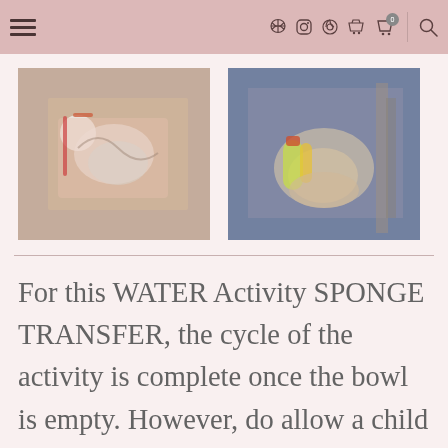≡  f  Instagram  Pinterest  YouTube  🛒0  🔍
[Figure (photo): Top-down view of a child's hand on a pink tray with bowls, water transfer activity]
[Figure (photo): Child in yellow-green apron sitting at table with pink basin doing water sponge transfer activity]
For this WATER Activity SPONGE TRANSFER, the cycle of the activity is complete once the bowl is empty. However, do allow a child to explore in creative play water and the absorbent properties of a sponge. For example, after finishing